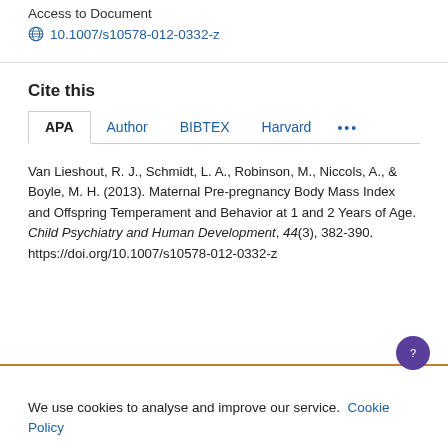Access to Document
10.1007/s10578-012-0332-z
Cite this
APA   Author   BIBTEX   Harvard   ...
Van Lieshout, R. J., Schmidt, L. A., Robinson, M., Niccols, A., & Boyle, M. H. (2013). Maternal Pre-pregnancy Body Mass Index and Offspring Temperament and Behavior at 1 and 2 Years of Age. Child Psychiatry and Human Development, 44(3), 382-390. https://doi.org/10.1007/s10578-012-0332-z
We use cookies to analyse and improve our service. Cookie Policy